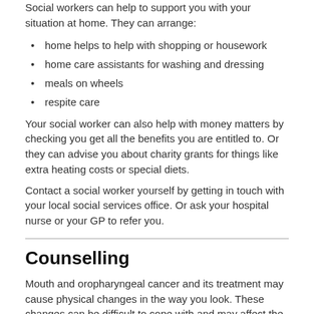Social workers can help to support you with your situation at home. They can arrange:
home helps to help with shopping or housework
home care assistants for washing and dressing
meals on wheels
respite care
Your social worker can also help with money matters by checking you get all the benefits you are entitled to. Or they can advise you about charity grants for things like extra heating costs or special diets.
Contact a social worker yourself by getting in touch with your local social services office. Or ask your hospital nurse or your GP to refer you.
Counselling
Mouth and oropharyngeal cancer and its treatment may cause physical changes in the way you look. These changes can be difficult to cope with and may affect the way you feel about yourself. It may also affect the way you relate to other people.